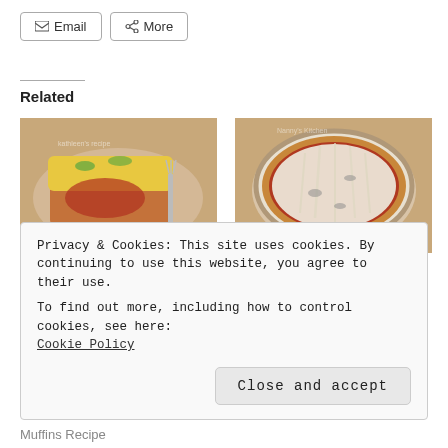Email
More
Related
[Figure (photo): Photo of Chili Stuffed Cornbread on a plate with a fork]
Chili Stuffed Cornbread
March 3, 2015
In "BEEF RECIPES"
[Figure (photo): Photo of a pizza with shredded cheese in a bowl]
Diagnosis and a Pizza Recipe
July 11, 2014
In "LIFE STORIES, LIFE HACKS"
Privacy & Cookies: This site uses cookies. By continuing to use this website, you agree to their use.
To find out more, including how to control cookies, see here:
Cookie Policy
Close and accept
Muffins Recipe